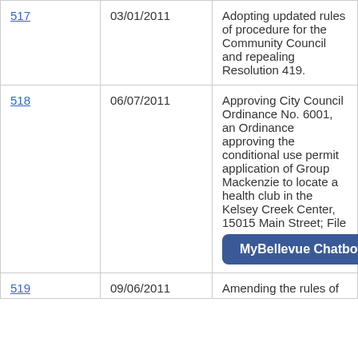| 517 | 03/01/2011 | Adopting updated rules of procedure for the Community Council and repealing Resolution 419. |
| 518 | 06/07/2011 | Approving City Council Ordinance No. 6001, an Ordinance approving the conditional use permit application of Group Mackenzie to locate a health club in the Kelsey Creek Center, 15015 Main Street; File [MyBellevue Chatbot button overlay] |
| 519 | 09/06/2011 | Amending the rules of |